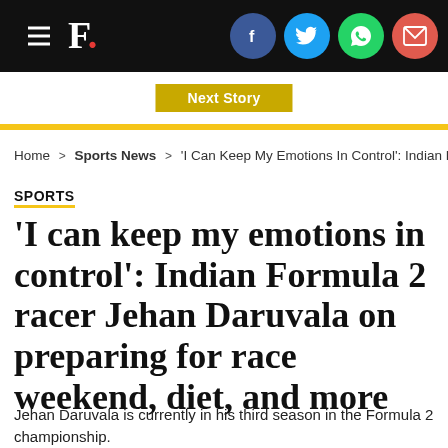F. [Firstpost logo] with social share icons: Facebook, Twitter, WhatsApp, Email
Next Story
Home > Sports News > 'I Can Keep My Emotions In Control': Indian Formula 2
SPORTS
'I can keep my emotions in control': Indian Formula 2 racer Jehan Daruvala on preparing for race weekend, diet, and more
Jehan Daruvala is currently in his third season in the Formula 2 championship.